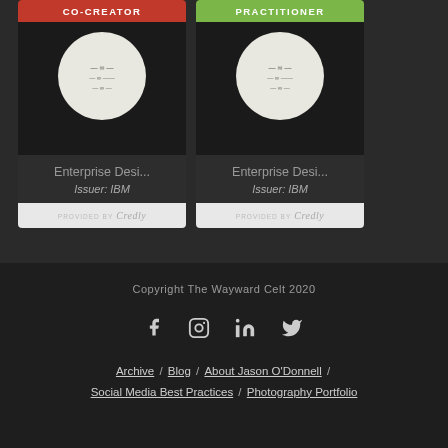[Figure (illustration): Two IBM badge cards from Credly. Left card shows 'CO-CREATOR' red ribbon badge labeled 'Enterprise Desi...' Issuer: IBM. Right card shows 'PRACTITIONER' green ribbon badge labeled 'Enterprise Desi...' Issuer: IBM. Both display 'PROVIDED BY Credly' footer.]
Copyright The Wayward Celt 2020
[Figure (infographic): Social media icons row: Facebook, Instagram, LinkedIn, Twitter]
Archive / Blog / About Jason O'Donnell / Social Media Best Practices / Photography Portfolio